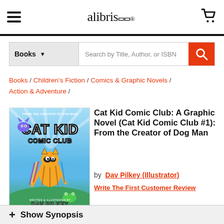alibris
Books | Search by Title, Author, or ISBN
Books / Children's Fiction / Comics & Graphic Novels / Action & Adventure /
[Figure (illustration): Book cover of Cat Kid Comic Club graphic novel, illustrated by Dav Pilkey. Blue sky background with a cartoon cat kid character holding pencils, a purple monster flying, and a green frog. Text reads CAT KID COMIC CLUB, WRITTEN & ILLUSTRATED BY DAV PILKEY.]
Cat Kid Comic Club: A Graphic Novel (Cat Kid Comic Club #1): From the Creator of Dog Man
by  Dav Pilkey (Illustrator)
Write The First Customer Review
+ Show Synopsis